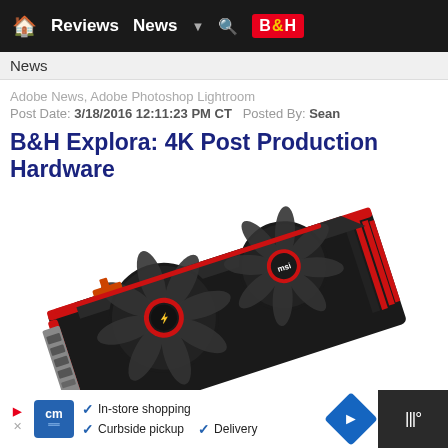🏠 Reviews  News ▼ 🔍 B&H
News
Adobe News, Adobe Photoshop Lightroom
Post Date: 3/18/2016 12:11:23 PM CT   Posted By: Sean
B&H Explora: 4K Post Production Hardware
[Figure (photo): MSI gaming graphics card with dual fans (red and black color scheme), viewed from a 3/4 angle on white background]
In-store shopping  Curbside pickup  Delivery  [CM logo] [Navigation icon]